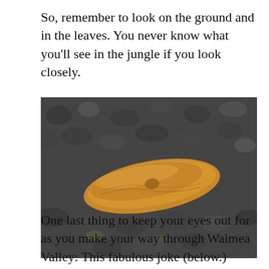So, remember to look on the ground and in the leaves. You never know what you'll see in the jungle if you look closely.
[Figure (photo): A large brown slug resting on dark grey gravel/rocks, photographed from above at close range.]
One last thing to keep your eyes out for as you make your way through Waimea Valley: This fabulous joke (below.)